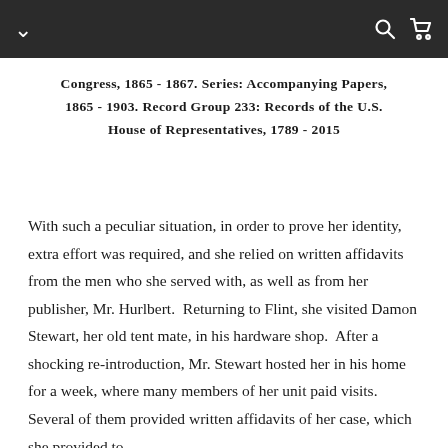Congress, 1865 - 1867. Series: Accompanying Papers, 1865 - 1903. Record Group 233: Records of the U.S. House of Representatives, 1789 - 2015
With such a peculiar situation, in order to prove her identity, extra effort was required, and she relied on written affidavits from the men who she served with, as well as from her publisher, Mr. Hurlbert.  Returning to Flint, she visited Damon Stewart, her old tent mate, in his hardware shop.  After a shocking re-introduction, Mr. Stewart hosted her in his home for a week, where many members of her unit paid visits.  Several of them provided written affidavits of her case, which she provided to